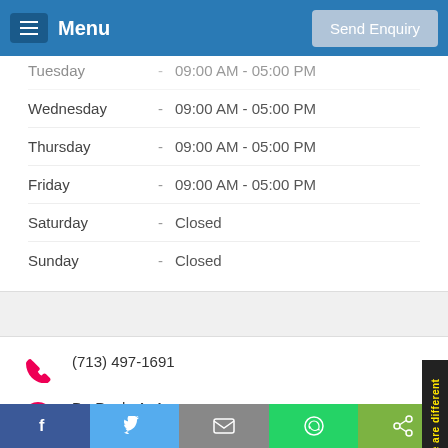Menu | Send Enquiry
| Day |  | Hours |
| --- | --- | --- |
| Tuesday | - | 09:00 AM - 05:00 PM |
| Wednesday | - | 09:00 AM - 05:00 PM |
| Thursday | - | 09:00 AM - 05:00 PM |
| Friday | - | 09:00 AM - 05:00 PM |
| Saturday | - | Closed |
| Sunday | - | Closed |
(713) 497-1691
Dr. Paola A. Argaez
15718 S. Highway 288 Suite 160, Pearland, TX 77584
Visit Website
View On Map
We are different
Facebook | Twitter | Email | WhatsApp | Share